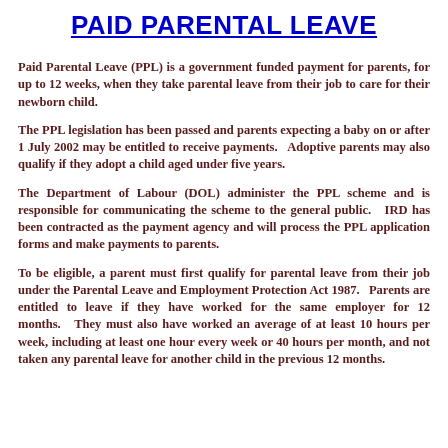PAID PARENTAL LEAVE
Paid Parental Leave (PPL) is a government funded payment for parents, for up to 12 weeks, when they take parental leave from their job to care for their newborn child.
The PPL legislation has been passed and parents expecting a baby on or after 1 July 2002 may be entitled to receive payments.   Adoptive parents may also qualify if they adopt a child aged under five years.
The Department of Labour (DOL) administer the PPL scheme and is responsible for communicating the scheme to the general public.   IRD has been contracted as the payment agency and will process the PPL application forms and make payments to parents.
To be eligible, a parent must first qualify for parental leave from their job under the Parental Leave and Employment Protection Act 1987.   Parents are entitled to leave if they have worked for the same employer for 12 months.   They must also have worked an average of at least 10 hours per week, including at least one hour every week or 40 hours per month, and not taken any parental leave for another child in the previous 12 months.